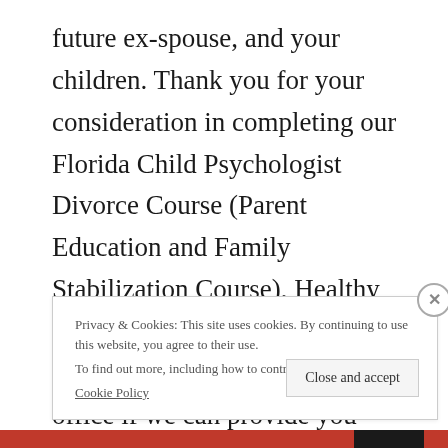future ex-spouse, and your children. Thank you for your consideration in completing our Florida Child Psychologist Divorce Course (Parent Education and Family Stabilization Course), Healthy Divorce Healthy Kids. Contact us at our Jacksonville, Florida office if we can provide you additional information about the course or about our family
Privacy & Cookies: This site uses cookies. By continuing to use this website, you agree to their use. To find out more, including how to control cookies, see here: Cookie Policy